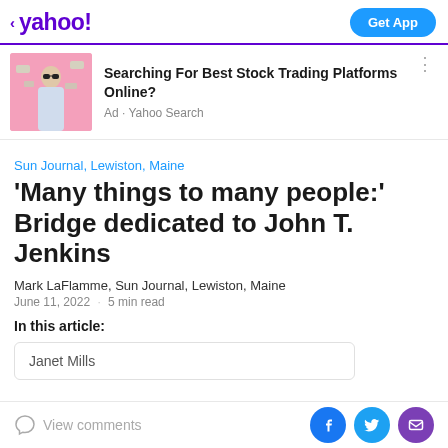< yahoo! Get App
[Figure (advertisement): Ad banner with man in sunglasses holding money, pink background. Text: Searching For Best Stock Trading Platforms Online? Ad · Yahoo Search]
Sun Journal, Lewiston, Maine
'Many things to many people:' Bridge dedicated to John T. Jenkins
Mark LaFlamme, Sun Journal, Lewiston, Maine
June 11, 2022 · 5 min read
In this article:
Janet Mills
View comments